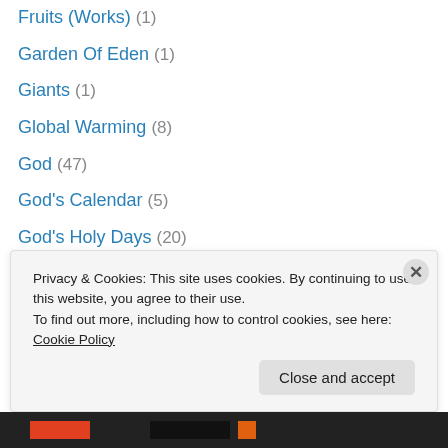Fruits (Works) (1)
Garden Of Eden (1)
Giants (1)
Global Warming (8)
God (47)
God's Calendar (5)
God's Holy Days (20)
God's Name (2)
Gospel (5)
Gossip (5)
Government (1)
Government – God's (1)
Government – Man's (5)
Privacy & Cookies: This site uses cookies. By continuing to use this website, you agree to their use.
To find out more, including how to control cookies, see here: Cookie Policy
Close and accept